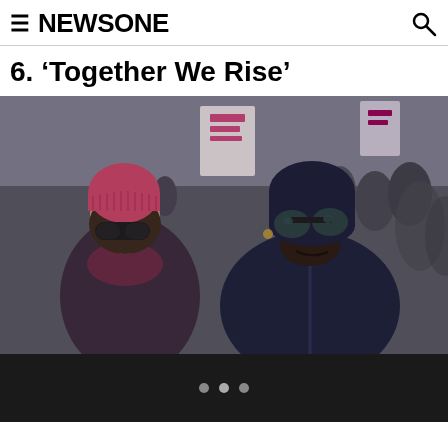≡ NEWSONE 🔍
6. ‘Together We Rise’
[Figure (photo): Two women marching in a protest crowd. The woman on the left is white, wearing a pink knit beanie and dark sunglasses, a purple scarf and dark puffer jacket. The woman on the right is Black, wearing a navy headband and dark round sunglasses, a navy zip-up jacket. Blurred protest signs and crowd visible in the background on a city street.]